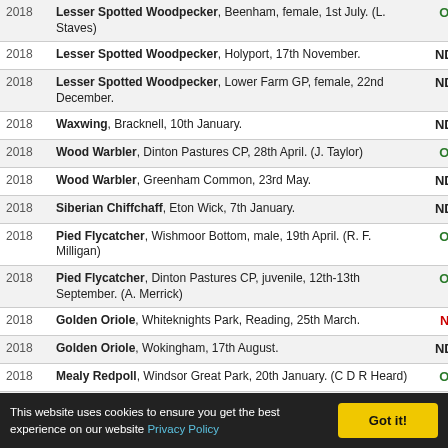| Year | Description | Status |
| --- | --- | --- |
| 2018 | Lesser Spotted Woodpecker, Beenham, female, 1st July. (L. Staves) | OK |
| 2018 | Lesser Spotted Woodpecker, Holyport, 17th November. | NDR |
| 2018 | Lesser Spotted Woodpecker, Lower Farm GP, female, 22nd December. | NDR |
| 2018 | Waxwing, Bracknell, 10th January. | NDR |
| 2018 | Wood Warbler, Dinton Pastures CP, 28th April. (J. Taylor) | OK |
| 2018 | Wood Warbler, Greenham Common, 23rd May. | NDR |
| 2018 | Siberian Chiffchaff, Eton Wick, 7th January. | NDR |
| 2018 | Pied Flycatcher, Wishmoor Bottom, male, 19th April. (R. F. Milligan) | OK |
| 2018 | Pied Flycatcher, Dinton Pastures CP, juvenile, 12th-13th September. (A. Merrick) | OK |
| 2018 | Golden Oriole, Whiteknights Park, Reading, 25th March. | NP |
| 2018 | Golden Oriole, Wokingham, 17th August. | NDR |
| 2018 | Mealy Redpoll, Windsor Great Park, 20th January. (C D R Heard) | OK |
| 2018 | Mealy Redpoll, Winkfield, 3 male & 2 female, 3rd February. | NDR |
| 2018 | Mealy Redpoll, Wishmoor Bottom, c.20, 18th February. | NDR |
| 2018 | Mealy Redpoll, Sulhamstead, three, 30th March. (A. B. Tomczynski) | OK |
This website uses cookies to ensure you get the best experience on our website Privacy Policy  Got it!